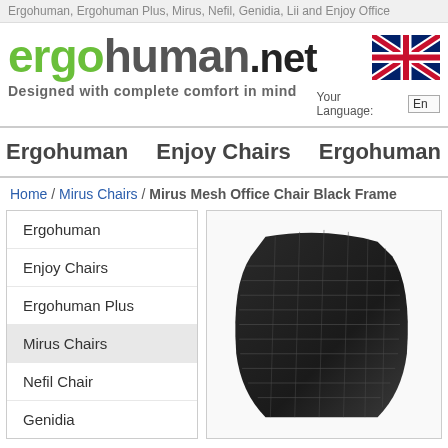Ergohuman, Ergohuman Plus, Mirus, Nefil, Genidia, Lii and Enjoy Office
[Figure (logo): ergohuman.net logo with green 'ergo' and grey 'human' text, followed by '.net' in dark]
Designed with complete comfort in mind
[Figure (illustration): UK flag (Union Jack)]
Your Language: En
Ergohuman   Enjoy Chairs   Ergohuman Plus
Home / Mirus Chairs / Mirus Mesh Office Chair Black Frame
Ergohuman
Enjoy Chairs
Ergohuman Plus
Mirus Chairs
Nefil Chair
Genidia
[Figure (photo): Close-up photo of a black mesh office chair back, showing dark ribbed mesh texture against a white background]